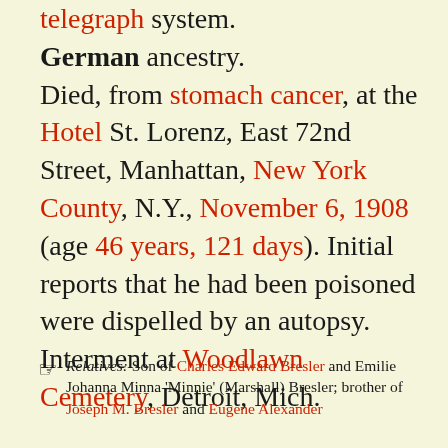telegraph system. German ancestry. Died, from stomach cancer, at the Hotel St. Lorenz, East 72nd Street, Manhattan, New York County, N.Y., November 6, 1908 (age 46 years, 121 days). Initial reports that he had been poisoned were dispelled by an autopsy. Interment at Woodlawn Cemetery, Detroit, Mich.
Relatives: Son of Charles Edward Bresler and Emilie Johanna Minna 'Minnie' (Marshall) Bresler; brother of Joseph M. Bresler and Eugene Alexander